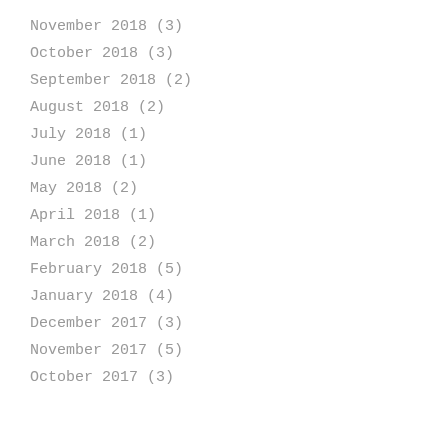November 2018 (3)
October 2018 (3)
September 2018 (2)
August 2018 (2)
July 2018 (1)
June 2018 (1)
May 2018 (2)
April 2018 (1)
March 2018 (2)
February 2018 (5)
January 2018 (4)
December 2017 (3)
November 2017 (5)
October 2017 (3)